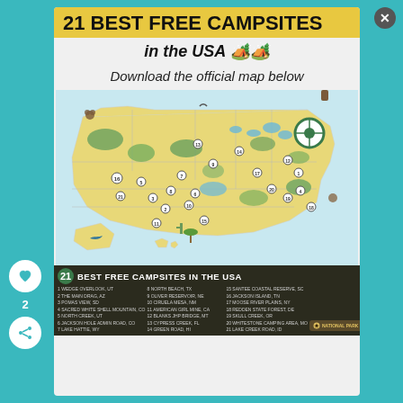21 BEST FREE CAMPSITES
in the USA 🏕️🏕️
Download the official map below
[Figure (map): Illustrated map of the USA showing 21 numbered best free campsites with icons for nature, animals, and landmarks. Bottom strip reads '21 BEST FREE CAMPSITES IN THE USA' with a numbered legend listing all 21 sites.]